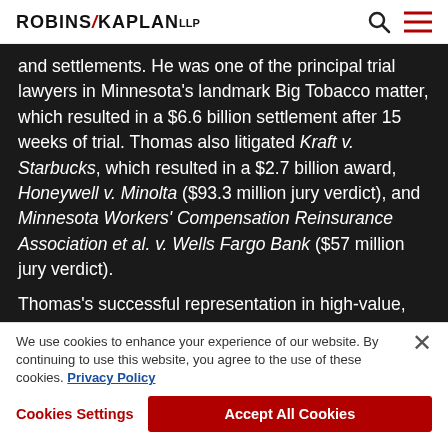ROBINS KAPLAN LLP
and settlements. He was one of the principal trial lawyers in Minnesota's landmark Big Tobacco matter, which resulted in a $6.6 billion settlement after 15 weeks of trial. Thomas also litigated Kraft v. Starbucks, which resulted in a $2.7 billion award, Honeywell v. Minolta ($93.3 million jury verdict), and Minnesota Workers' Compensation Reinsurance Association et al. v. Wells Fargo Bank ($57 million jury verdict).
Thomas's successful representation in high-value, high-stakes litigation has been recognized
We use cookies to enhance your experience of our website. By continuing to use this website, you agree to the use of these cookies. Privacy Policy
Cookies Settings | Accept All Cookies